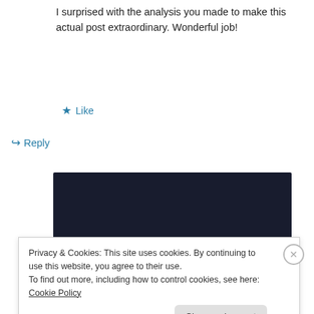I surprised with the analysis you made to make this actual post extraordinary. Wonderful job!
★ Like
↪ Reply
[Figure (screenshot): Dark banner advertisement showing 'online course.' in teal italic text with a 'Learn More' teal rounded button on dark navy background.]
Privacy & Cookies: This site uses cookies. By continuing to use this website, you agree to their use.
To find out more, including how to control cookies, see here: Cookie Policy
Close and accept